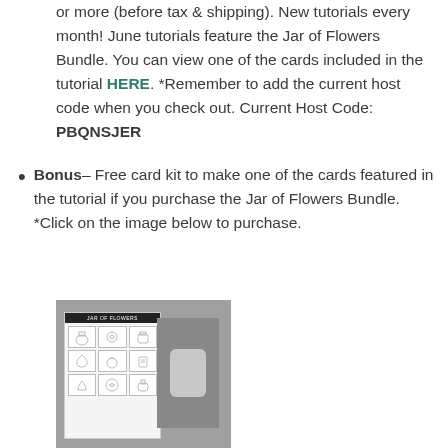or more (before tax & shipping). New tutorials every month! June tutorials feature the Jar of Flowers Bundle. You can view one of the cards included in the tutorial HERE. *Remember to add the current host code when you check out. Current Host Code: PBQNSJER
Bonus– Free card kit to make one of the cards featured in the tutorial if you purchase the Jar of Flowers Bundle. *Click on the image below to purchase.
[Figure (photo): Product photo of Jar of Flowers Bundle showing a stamp sheet with flower/jar designs and a dark gray punch/die tool on a gray background.]